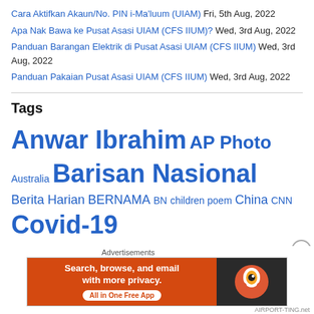Cara Aktifkan Akaun/No. PIN i-Ma'luum (UIAM) Fri, 5th Aug, 2022
Apa Nak Bawa ke Pusat Asasi UIAM (CFS IIUM)? Wed, 3rd Aug, 2022
Panduan Barangan Elektrik di Pusat Asasi UIAM (CFS IIUM) Wed, 3rd Aug, 2022
Panduan Pakaian Pusat Asasi UIAM (CFS IIUM) Wed, 3rd Aug, 2022
Tags
Anwar Ibrahim AP Photo Australia Barisan Nasional Berita Harian BERNAMA BN children poem China CNN Covid-19 DAP Diari Remaja disaster Earth earthquake Federal Constitution Federal Constitution of Malaysia fiction flood
[Figure (screenshot): DuckDuckGo advertisement banner with orange background on left reading 'Search, browse, and email with more privacy. All in One Free App' and dark background on right with DuckDuckGo logo]